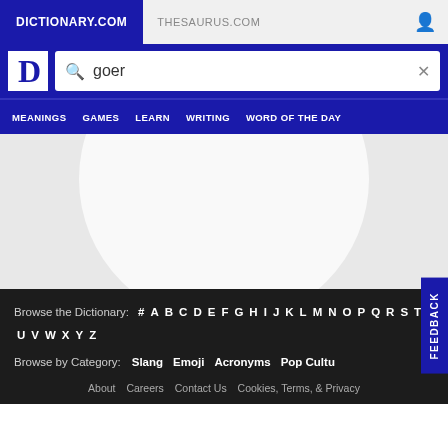DICTIONARY.COM | THESAURUS.COM
[Figure (screenshot): Dictionary.com logo - white D in a box]
goer
MEANINGS   GAMES   LEARN   WRITING   WORD OF THE DAY
Browse the Dictionary: # A B C D E F G H I J K L M N O P Q R S T U V W X Y Z
Browse by Category: Slang   Emoji   Acronyms   Pop Cultu
About   Careers   Contact Us   Cookies, Terms, & Privacy